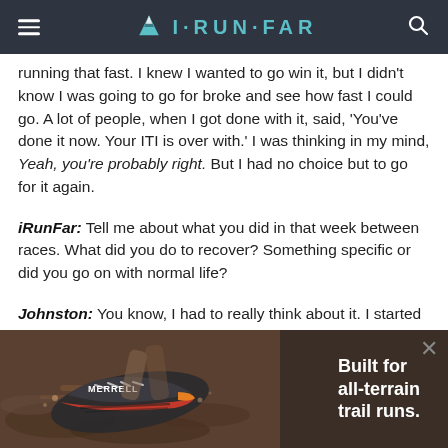iRunFar
running that fast. I knew I wanted to go win it, but I didn't know I was going to go for broke and see how fast I could go. A lot of people, when I got done with it, said, 'You've done it now. Your ITI is over with.' I was thinking in my mind, Yeah, you're probably right. But I had no choice but to go for it again.
iRunFar: Tell me about what you did in that week between races. What did you do to recover? Something specific or did you go on with normal life?
Johnston: You know, I had to really think about it. I started right back with two days of three miles of walking each day just to work the crap out of my legs. Then the following three days, I ran five miles pulling a sled because I had just worn my body, but I
[Figure (photo): Merrell shoe advertisement banner: close-up photo of a Merrell trail running shoe in motion over dirt/ground. Text reads: Built for all-terrain trail runs.]